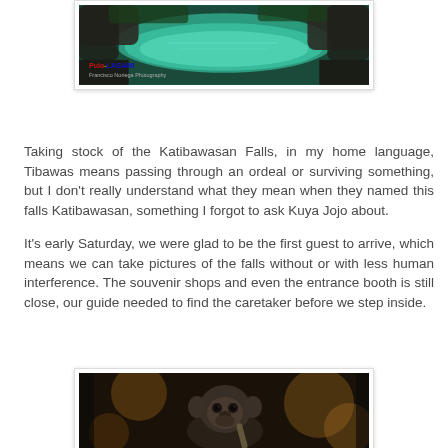[Figure (photo): Aerial or overhead view of Katibawasan Falls with turquoise-blue water surrounded by rocks and lush greenery. A watermark reading 'Pulo-Lagawi' in red, blue, and yellow text with subtitle 'Francisco Noriega Photography' is visible at the bottom left.]
Taking stock of the Katibawasan Falls, in my home language, Tibawas means passing through an ordeal or surviving something, but I don't really understand what they mean when they named this falls Katibawasan, something I forgot to ask Kuya Jojo about.
It's early Saturday, we were glad to be the first guest to arrive, which means we can take pictures of the falls without or with less human interference. The souvenir shops and even the entrance booth is still close, our guide needed to find the caretaker before we step inside.
[Figure (photo): Close-up dark photograph of a monkey (macaque) looking at the camera, holding something, with blurred warm bokeh background suggesting forest environment.]